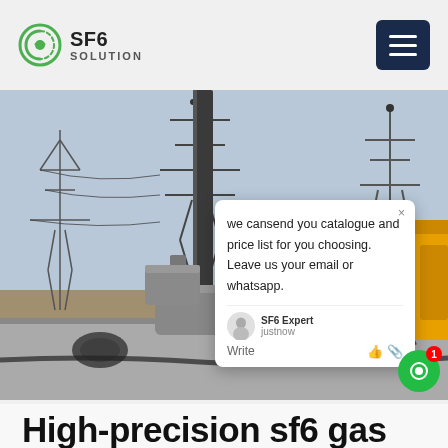SF6 SOLUTION
[Figure (photo): Outdoor high-voltage electrical substation with SF6 gas handling equipment on a yellow truck, transmission towers and power lines visible in background.]
we cansend you catalogue and price list for you choosing. Leave us your email or whatsapp.
SF6 Expert  justnow
Write
High-precision sf6 gas